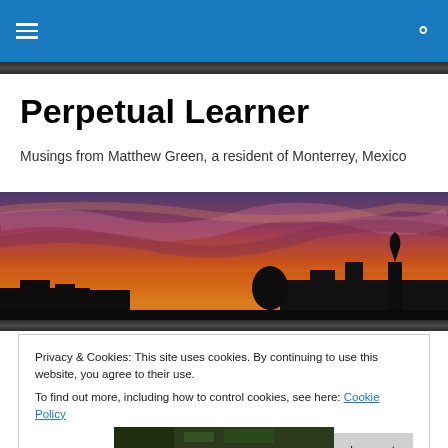Navigation bar with hamburger menu and search icon
Perpetual Learner
Musings from Matthew Green, a resident of Monterrey, Mexico
[Figure (photo): Panoramic sunset photo showing silhouettes of buildings against a vivid orange, red, and purple sky]
Privacy & Cookies: This site uses cookies. By continuing to use this website, you agree to their use.
To find out more, including how to control cookies, see here: Cookie Policy
[Figure (photo): Partial view of a photo at the bottom of the page, appears to be a nature or macro photo]